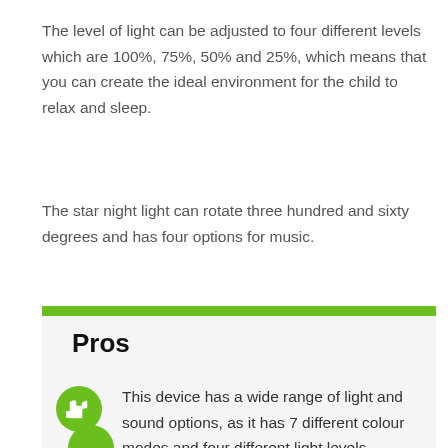The level of light can be adjusted to four different levels which are 100%, 75%, 50% and 25%, which means that you can create the ideal environment for the child to relax and sleep.
The star night light can rotate three hundred and sixty degrees and has four options for music.
Pros
This device has a wide range of light and sound options, as it has 7 different colour modes and four different light levels.